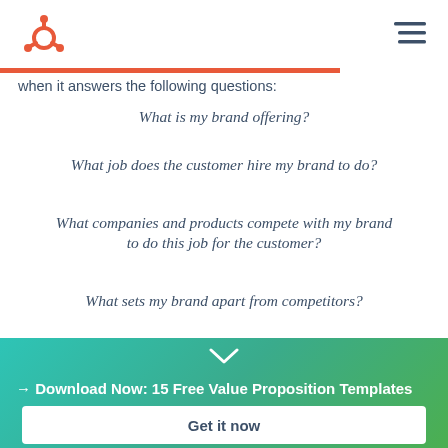HubSpot logo and navigation
when it answers the following questions:
What is my brand offering?
What job does the customer hire my brand to do?
What companies and products compete with my brand to do this job for the customer?
What sets my brand apart from competitors?
→ Download Now: 15 Free Value Proposition Templates
Get it now